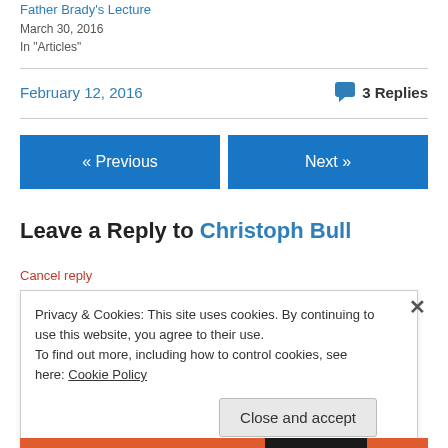Father Brady's Lecture
March 30, 2016
In "Articles"
February 12, 2016
3 Replies
« Previous
Next »
Leave a Reply to Christoph Bull
Cancel reply
Privacy & Cookies: This site uses cookies. By continuing to use this website, you agree to their use.
To find out more, including how to control cookies, see here: Cookie Policy
Close and accept